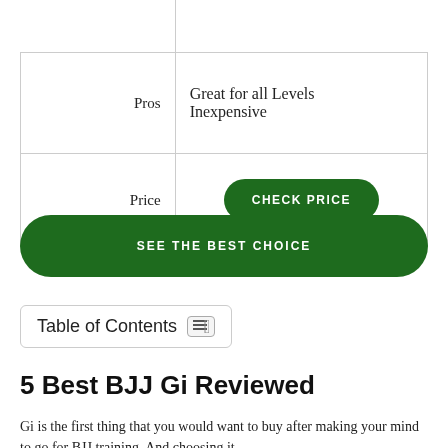|  |  |
| --- | --- |
|  |  |
| Pros | Great for all Levels
Inexpensive |
| Price | CHECK PRICE |
SEE THE BEST CHOICE
Table of Contents
5 Best BJJ Gi Reviewed
Gi is the first thing that you would want to buy after making your mind to go for BJJ training. And choosing it